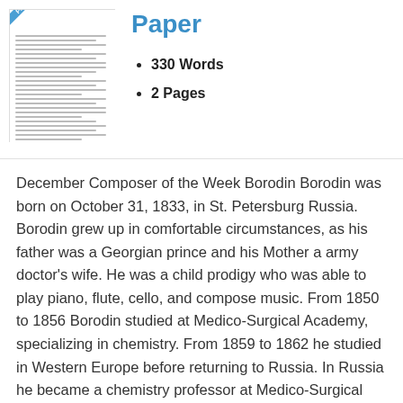[Figure (other): Thumbnail preview of a document page with a blue 'Preview' badge in the top-left corner]
Paper
330 Words
2 Pages
December Composer of the Week Borodin Borodin was born on October 31, 1833, in St. Petersburg Russia. Borodin grew up in comfortable circumstances, as his father was a Georgian prince and his Mother a army doctor’s wife. He was a child prodigy who was able to play piano, flute, cello, and compose music. From 1850 to 1856 Borodin studied at Medico-Surgical Academy, specializing in chemistry. From 1859 to 1862 he studied in Western Europe before returning to Russia. In Russia he became a chemistry professor at Medico-Surgical Academy. At this time he composed his first major work, the Symphony No.1 in E-flat Major. In 1869 he